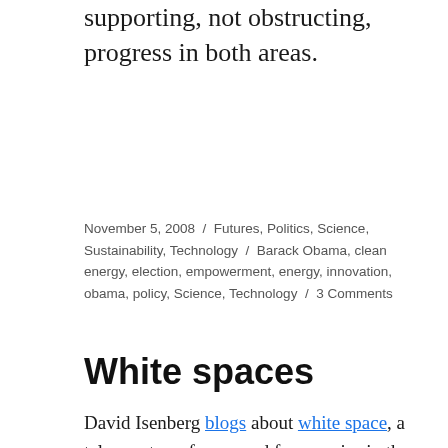supporting, not obstructing, progress in both areas.
November 5, 2008 / Futures, Politics, Science, Sustainability, Technology / Barack Obama, clean energy, election, empowerment, energy, innovation, obama, policy, Science, Technology / 3 Comments
White spaces
David Isenberg blogs about white space, a telecom term for unused frequencies in the radio waves portion of the electromagnetic spectrum, here specifically referring to using available digital television spectrum. Google